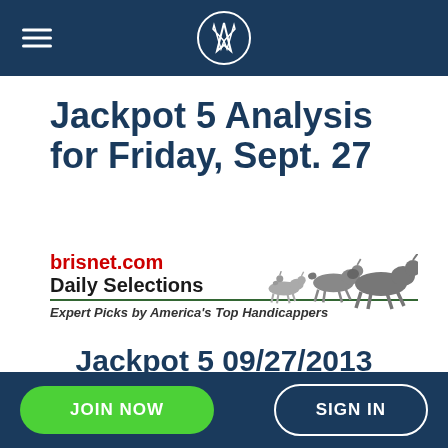Navigation bar with hamburger menu and logo
Jackpot 5 Analysis for Friday, Sept. 27
[Figure (logo): brisnet.com Daily Selections logo with racing horses illustration and tagline: Expert Picks by America's Top Handicappers]
Jackpot 5 09/27/2013
EVERY EFFORT WAS MADE TO ENSURE ACCURACY OF PROGRAM NUMBERS. PLEASE CONFIRM BEFORE WAGERING.
JOIN NOW | SIGN IN